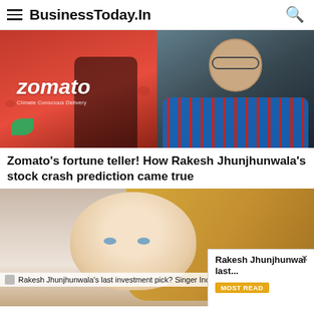BusinessToday.In
[Figure (photo): Two-panel image: left panel shows the Zomato app on a phone with red background and text 'Climate Conscious Delivery'; right panel shows a portrait of Rakesh Jhunjhunwala wearing glasses and a plaid shirt]
Zomato's fortune teller! How Rakesh Jhunjhunwala's stock crash prediction came true
[Figure (photo): Close-up photo of a blonde woman's face]
Rakesh Jhunjhunwala's last investment pick? Singer India rallies 20%
Rakesh Jhunjhunwal last...
MOST READ